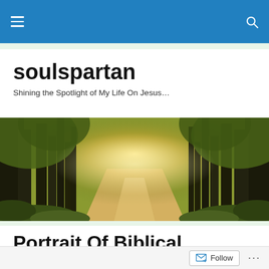soulspartan navigation bar
soulspartan
Shining the Spotlight of My Life On Jesus…
[Figure (photo): A sunlit forest path with tall trees on both sides, golden light streaming through the canopy onto a dirt road]
Portrait Of Biblical, Healthy Next Steps…
Follow